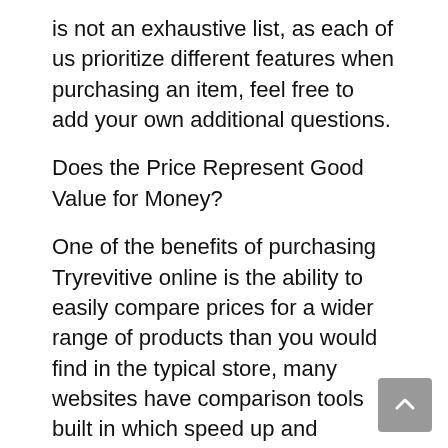is not an exhaustive list, as each of us prioritize different features when purchasing an item, feel free to add your own additional questions.
Does the Price Represent Good Value for Money?
One of the benefits of purchasing Tryrevitive online is the ability to easily compare prices for a wider range of products than you would find in the typical store, many websites have comparison tools built in which speed up and simplify this process, and enable you to easily see if you're getting a good price for your product. It's worth remembering that sometimes it's worth paying a little bit more for a product if you won't have to replace it